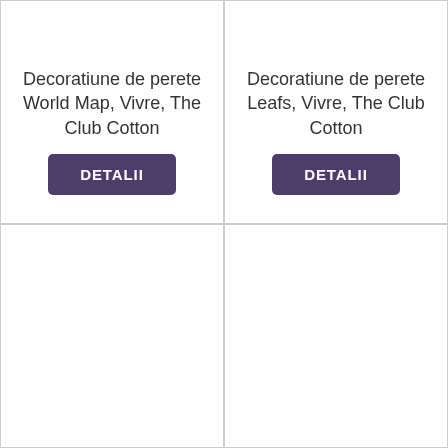Decoratiune de perete World Map, Vivre, The Club Cotton
DETALII
Decoratiune de perete Leafs, Vivre, The Club Cotton
DETALII